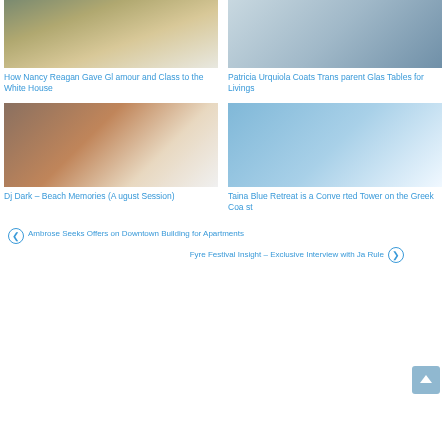[Figure (photo): Interior living room with sofa and wooden floor, natural light]
[Figure (photo): Glass table top with modern furniture in living room]
How Nancy Reagan Gave Glamour and Class to the White House
Patricia Urquiola Coats Transparent Glas Tables for Livings
[Figure (photo): Modern bedroom with orange accent pillows and footstools]
[Figure (photo): Blue coastal retreat room with white sofa and nautical decor]
Dj Dark – Beach Memories (August Session)
Taina Blue Retreat is a Converted Tower on the Greek Coast
❮ Ambrose Seeks Offers on Downtown Building for Apartments
Fyre Festival Insight – Exclusive Interview with Ja Rule ❯